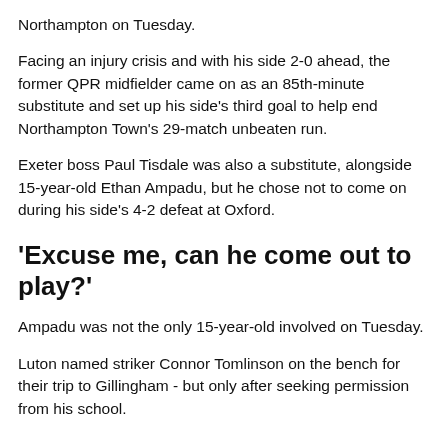Northampton on Tuesday.
Facing an injury crisis and with his side 2-0 ahead, the former QPR midfielder came on as an 85th-minute substitute and set up his side's third goal to help end Northampton Town's 29-match unbeaten run.
Exeter boss Paul Tisdale was also a substitute, alongside 15-year-old Ethan Ampadu, but he chose not to come on during his side's 4-2 defeat at Oxford.
'Excuse me, can he come out to play?'
Ampadu was not the only 15-year-old involved on Tuesday.
Luton named striker Connor Tomlinson on the bench for their trip to Gillingham - but only after seeking permission from his school.